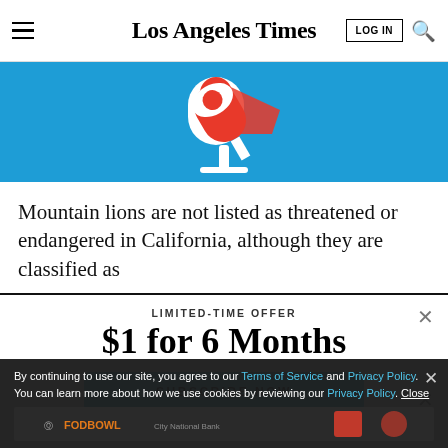Los Angeles Times
[Figure (illustration): Blue banner with a stylized red and white microphone illustration on a cyan/blue background]
Mountain lions are not listed as threatened or endangered in California, although they are classified as
LIMITED-TIME OFFER
$1 for 6 Months
SUBSCRIBE NOW
By continuing to use our site, you agree to our Terms of Service and Privacy Policy. You can learn more about how we use cookies by reviewing our Privacy Policy. Close